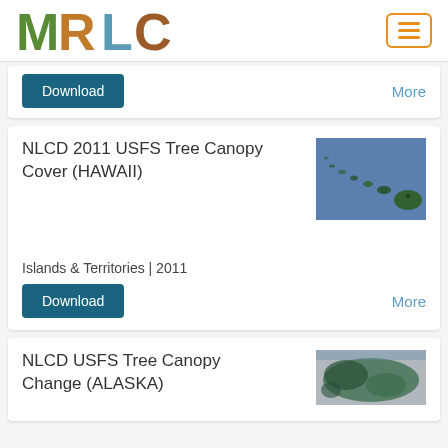[Figure (logo): MRLC logo with nature-themed letters M R L C]
[Figure (other): Hamburger menu button with orange border]
Download
More
NLCD 2011 USFS Tree Canopy Cover (HAWAII)
[Figure (map): Map of Hawaii islands on blue background]
Islands & Territories | 2011
Download
More
NLCD USFS Tree Canopy Change (ALASKA)
[Figure (map): Map of Alaska on grey/blue background]